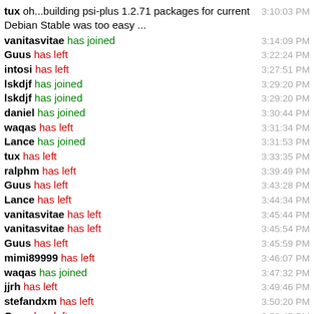tux oh...building psi-plus 1.2.71 packages for current Debian Stable was too easy ... 3:10:03 PM
vanitasvitae has joined 3:14:09 PM
Guus has left 3:22:24 PM
intosi has left 3:27:51 PM
lskdjf has joined 3:29:20 PM
lskdjf has joined 3:29:20 PM
daniel has joined 3:30:44 PM
waqas has left 3:31:34 PM
Lance has joined 3:31:53 PM
tux has left 3:33:35 PM
ralphm has left 3:39:49 PM
Guus has left 3:43:28 PM
Lance has left 3:44:34 PM
vanitasvitae has left 3:45:44 PM
vanitasvitae has left 3:45:54 PM
Guus has left 3:45:59 PM
mimi89999 has left 3:46:07 PM
waqas has joined 3:47:32 PM
jjrh has left 3:49:46 PM
stefandxm has left 3:50:20 PM
Guus has left 3:52:45 PM
lskdjf has left 3:54:29 PM
Guus has left 3:54:41 PM
Guus has left 3:57:57 PM